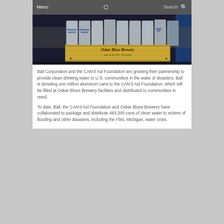Menu  Search
[Figure (photo): Oskar Blues Brewery wooden crate filled with aluminum cans labeled 'Drinking Water' on a dark background]
Ball Corporation and the CAN'd Aid Foundation are growing their partnership to provide clean drinking water to U.S. communities in the wake of disasters. Ball is donating one million aluminum cans to the CAN'd Aid Foundation, which will be filled at Oskar Blues Brewery facilities and distributed to communities in need.
To date, Ball, the CAN'd Aid Foundation and Oskar Blues Brewery have collaborated to package and distribute 483,200 cans of clean water to victims of flooding and other disasters, including the Flint, Michigan, water crisis.